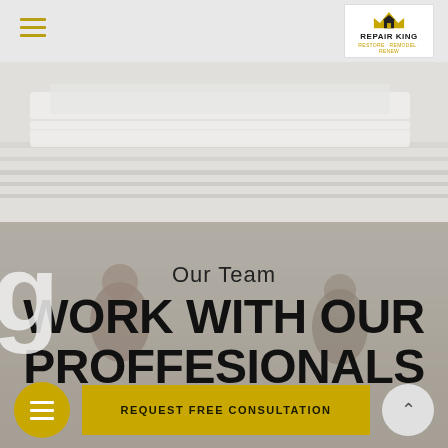[Figure (screenshot): Website screenshot showing Repair King company page with header navigation, logo, background photo of vehicles/rooftops, 'Our Team' section header, 'WORK WITH OUR PROFFESIONALS' title, and a 'REQUEST FREE CONSULTATION' button at the bottom.]
≡   REPAIR KING RESTORE · REMODEL · RENEW
Our Team
WORK WITH OUR PROFFESIONALS
REQUEST FREE CONSULTATION